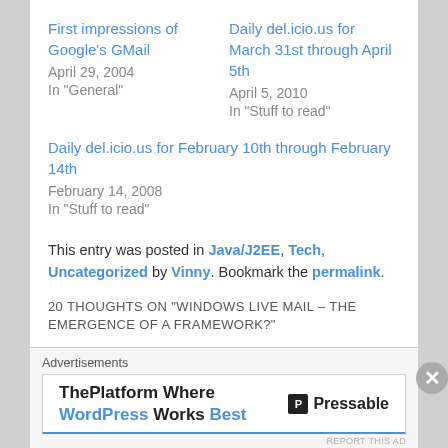First impressions of Google's GMail
April 29, 2004
In "General"
Daily del.icio.us for March 31st through April 5th
April 5, 2010
In "Stuff to read"
Daily del.icio.us for February 10th through February 14th
February 14, 2008
In "Stuff to read"
This entry was posted in Java/J2EE, Tech, Uncategorized by Vinny. Bookmark the permalink.
20 THOUGHTS ON "WINDOWS LIVE MAIL – THE EMERGENCE OF A FRAMEWORK?"
Advertisements
[Figure (other): ThePlatform Where WordPress Works Best – Pressable advertisement banner]